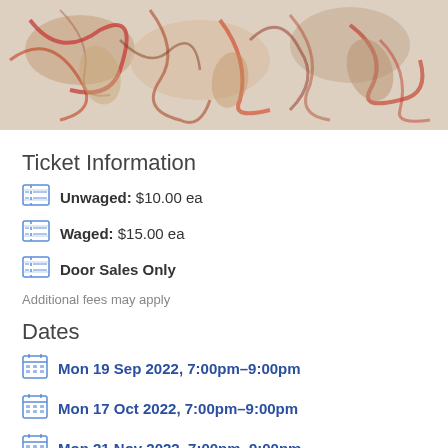[Figure (illustration): Abstract colorful painting with swirling figures in red, orange, beige and dark tones on a light background]
Ticket Information
Unwaged: $10.00 ea
Waged: $15.00 ea
Door Sales Only
Additional fees may apply
Dates
Mon 19 Sep 2022, 7:00pm–9:00pm
Mon 17 Oct 2022, 7:00pm–9:00pm
Mon 21 Nov 2022, 7:00pm–9:00pm